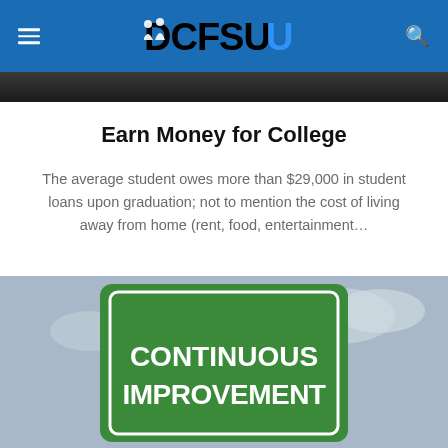DCFSU
[Figure (photo): Dark photo strip at top of page, partial image of building or scene]
Earn Money for College
The average student owes more than $29,000 in student loans upon graduation; not to mention the cost of living away from home (rent, food, entertainment…
[Figure (photo): Road sign with green background and white text reading CONTINUOUS IMPROVEMENT]